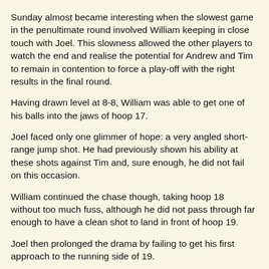Sunday almost became interesting when the slowest game in the penultimate round involved William keeping in close touch with Joel. This slowness allowed the other players to watch the end and realise the potential for Andrew and Tim to remain in contention to force a play-off with the right results in the final round.
Having drawn level at 8-8, William was able to get one of his balls into the jaws of hoop 17.
Joel faced only one glimmer of hope: a very angled short-range jump shot. He had previously shown his ability at these shots against Tim and, sure enough, he did not fail on this occasion.
William continued the chase though, taking hoop 18 without too much fuss, although he did not pass through far enough to have a clean shot to land in front of hoop 19.
Joel then prolonged the drama by failing to get his first approach to the running side of 19.
William made no such mistake and the pressure was on Joel, who then found a response to prevent any immediate